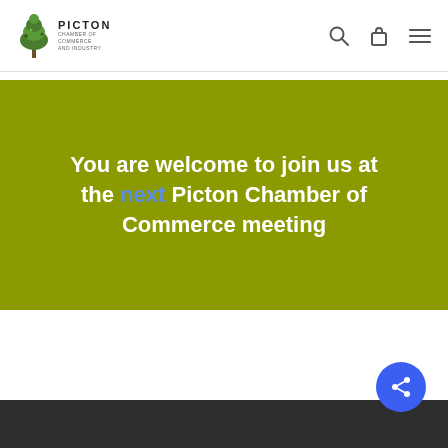Picton Chamber of Commerce and Industry — site header with logo, search, bag, and menu icons
You are welcome to join us at the next Picton Chamber of Commerce meeting
[Figure (screenshot): Dark footer bar with share button (blue circle with share icon)]